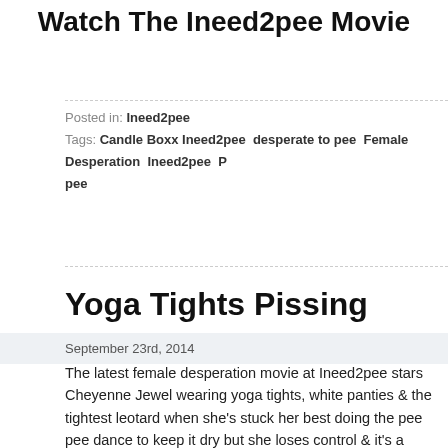Watch The Ineed2pee Movie
Posted in: Ineed2pee
Tags: Candle Boxx Ineed2pee  desperate to pee  Female Desperation  Ineed2pee  P pee
Yoga Tights Pissing
September 23rd, 2014
The latest female desperation movie at Ineed2pee stars Cheyenne Jewel wearing yoga tights, white panties & the tightest leotard when she's stuck her best doing the pee pee dance to keep it dry but she loses control & it's a waterfall & loud as it's splashing all over. Great BTS, she tells you why she's desperate! Wonderful female desperation and wetting once again.
[Figure (photo): Thumbnail image with 'Ineed2pee' text watermark in yellow italic font overlaid on a light-colored indoor scene]